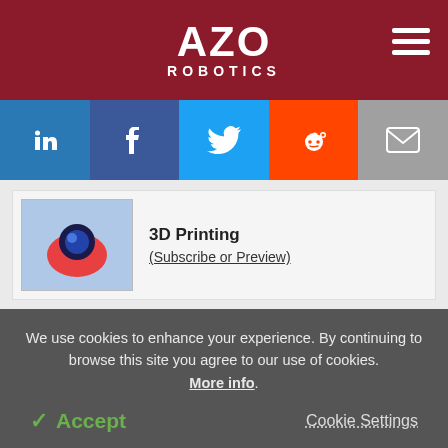AZO ROBOTICS
[Figure (infographic): Social media share buttons: LinkedIn, Facebook, Twitter, Reddit, Email]
3D Printing (Subscribe or Preview)
Food & Beverage Analysis (Subscribe or Preview)
We use cookies to enhance your experience. By continuing to browse this site you agree to our use of cookies. More info.
Accept   Cookie Settings